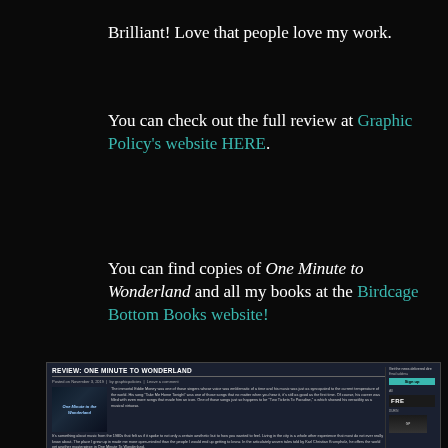Brilliant! Love that people love my work.
You can check out the full review at Graphic Policy’s website HERE.
You can find copies of One Minute to Wonderland and all my books at the Birdcage Bottom Books website!
[Figure (screenshot): Screenshot of a website showing a review titled 'REVIEW: ONE MINUTE TO WONDERLAND' with article text, a book cover image, and a sidebar with signup form and advertisement.]